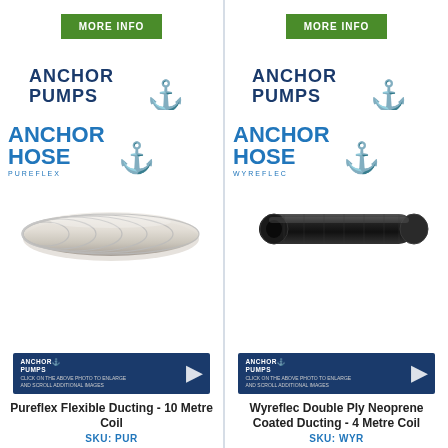[Figure (other): Green MORE INFO button for left product]
[Figure (other): Green MORE INFO button for right product]
[Figure (logo): Anchor Pumps logo left cell]
[Figure (logo): Anchor Pumps logo right cell]
[Figure (photo): Anchor Hose Pureflex product image - clear flexible spiral hose coil]
[Figure (photo): Anchor Hose Wyreflec product image - black neoprene coated ducting tube]
[Figure (other): Anchor Pumps info banner left - click to enlarge]
[Figure (other): Anchor Pumps info banner right - click to enlarge]
Pureflex Flexible Ducting - 10 Metre Coil
SKU: PUR
Wyreflec Double Ply Neoprene Coated Ducting - 4 Metre Coil
SKU: WYR